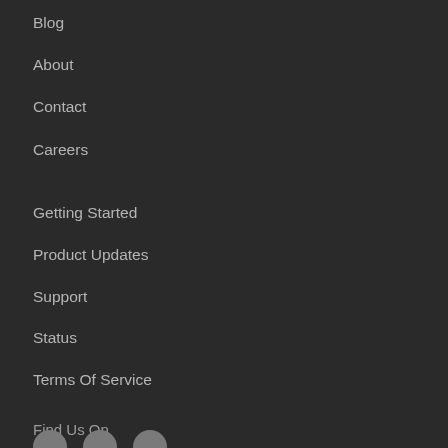Blog
About
Contact
Careers
Getting Started
Product Updates
Support
Status
Terms Of Service
Privacy Policy
Find Us On
[Figure (illustration): Three social media icon circles at the bottom]